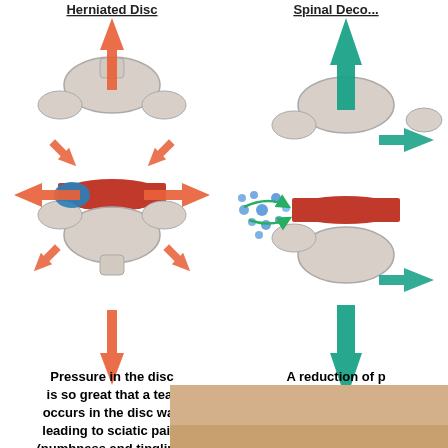[Figure (illustration): Herniated disc diagram showing spinal vertebrae with red arrows indicating outward pressure in all directions from compressed disc. A blue oval represents the herniated nucleus. Orange/red arrows point up, down, left, and right showing compression forces.]
[Figure (illustration): Spinal decompression diagram showing vertebrae with large teal/green arrows pointing up and down (distraction), and blue dots/bubbles being pulled back into the disc space with green curved arrows, indicating decompression pulling nutrients and moisture back into the disc.]
Pressure in the disc is so great that a tear occurs in the disc wall leading to sciatic pain. (numbness and tingling)
A reduction of pressure in the discs (decompression) aids in pulling nutrients and moisture back.
[Figure (photo): Partial photo of a patient or medical procedure, showing skin/body part at the bottom of the page.]